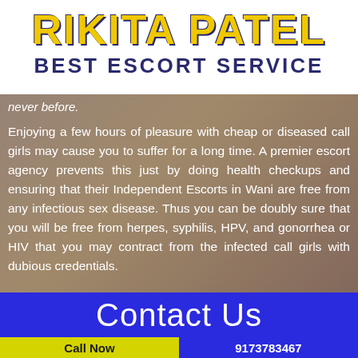RIKITA PATEL BEST ESCORT SERVICE
never before.
Enjoying a few hours of pleasure with cheap or diseased call girls may cause you to suffer for a long time. A premier escort agency prevents this just by doing health checkups and ensuring that their Independent Escorts in Wani are free from any infectious sex disease. Thus you can be doubly sure that you will be free from herpes, syphilis, HPV, and gonorrhea or HIV that you may contract from the infected call girls with dubious credentials.
Contact Us
Call Now
9173783467